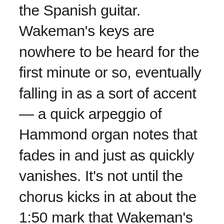the Spanish guitar. Wakeman's keys are nowhere to be heard for the first minute or so, eventually falling in as a sort of accent — a quick arpeggio of Hammond organ notes that fades in and just as quickly vanishes. It's not until the chorus kicks in at about the 1:50 mark that Wakeman's keys appear in earnest... and never really disappear. While he doesn't take a lead line until late in the song, his supporting role sounds nothing like Kaye's work did. Wakeman rarely goes for sustained chords or atmospheres; if he's playing, he's playing in earnest — and his ability to...